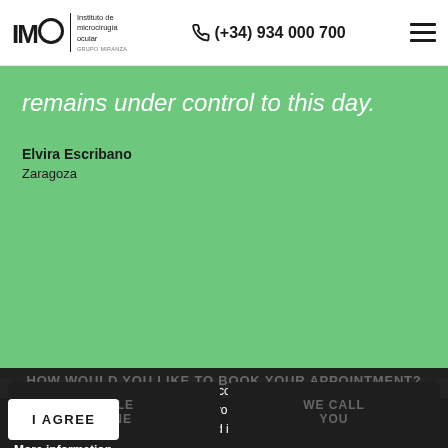IMO Instituto de microcirugía ocular GRUPO MIRANZA | (+34) 934 000 700
remains under control to this day.
Elvira Escribano
Zaragoza
This website uses own and third party cookies, as well as testing technologies and usability analysis. If you continue navigating, you accept the use we make of them, as described in our cookie policy. More information
HOW WOULD YOU LIKE TO BOOK YOUR APPOINTMENT?
SCHEDULE ONLINE
WE CALL YOU
I AGREE